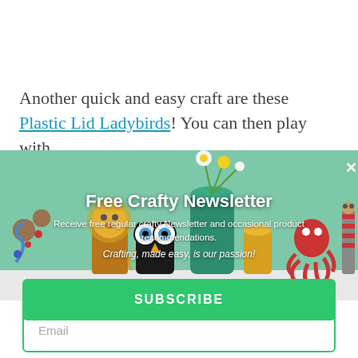Another quick and easy craft are these Plastic Lid Ladybirds! You can then play with
[Figure (photo): Photo of handmade craft toys including animals made from toilet rolls, painted rocks, and bottle figures arranged on a white surface with flowers in a jar background. Overlaid with newsletter signup text.]
Free Crafty Newsletter
Receive free regular crafty Newsletter and occasional product recommendations.
Crafting, made easy, is our passion!
Email
SUBSCRIBE